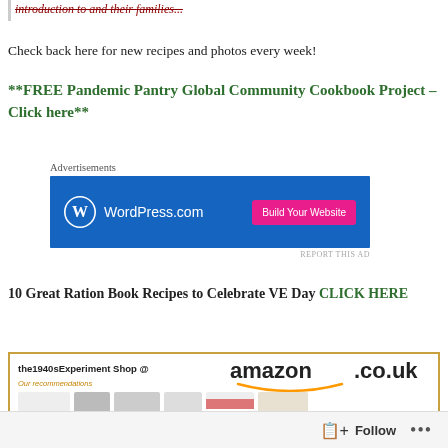introduction to and their families...
Check back here for new recipes and photos every week!
**FREE Pandemic Pantry Global Community Cookbook Project – Click here**
[Figure (screenshot): WordPress.com advertisement banner with blue background, WordPress logo on left and pink 'Build Your Website' button on right]
10 Great Ration Book Recipes to Celebrate VE Day CLICK HERE
[Figure (screenshot): Amazon.co.uk banner showing 'the1940sExperiment Shop @ amazon.co.uk' with product images including jars, a thermos, a book 'Eat Again', a bottle, a Union Jack item, and boxes]
Follow ...